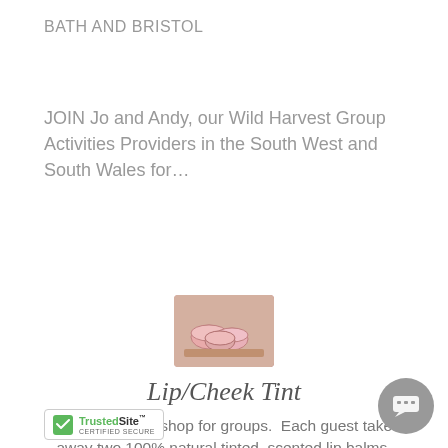BATH AND BRISTOL
JOIN Jo and Andy, our Wild Harvest Group Activities Providers in the South West and South Wales for...
[Figure (photo): Small image of pink lip balm pots/containers on a surface]
Lip/Cheek Tint
A one hour workshop for groups. Each guest takes away two 100% natural tinted, scented lip balms.